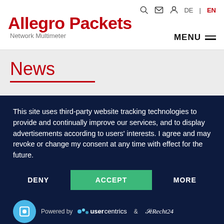Allegro Packets Network Multimeter — MENU — DE | EN
News
This site uses third-party website tracking technologies to provide and continually improve our services, and to display advertisements according to users' interests. I agree and may revoke or change my consent at any time with effect for the future.
DENY | ACCEPT | MORE
Powered by usercentrics & eRecht24